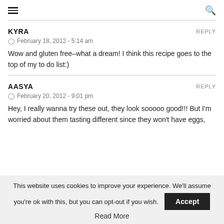≡   🔍
KYRA   REPLY
⊙  February 18, 2012 - 5:14 am
Wow and gluten free–what a dream! I think this recipe goes to the top of my to do list:)
AASYA   REPLY
⊙  February 20, 2012 - 9:01 pm
Hey, I really wanna try these out, they look sooooo good!!! But I'm worried about them tasting different since they won't have eggs,
This website uses cookies to improve your experience. We'll assume you're ok with this, but you can opt-out if you wish. Accept
Read More